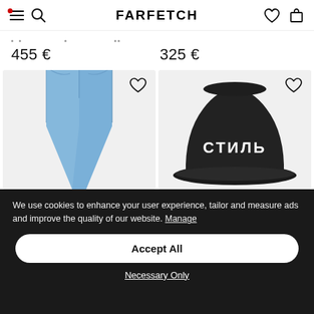FARFETCH navigation bar
455 €
325 €
[Figure (photo): Light blue denim jeans product photo on grey background with wishlist heart icon]
[Figure (photo): Black bucket hat with СТИЛЬ text embroidery on grey background with wishlist heart icon]
We use cookies to enhance your user experience, tailor and measure ads and improve the quality of our website. Manage
Accept All
Necessary Only